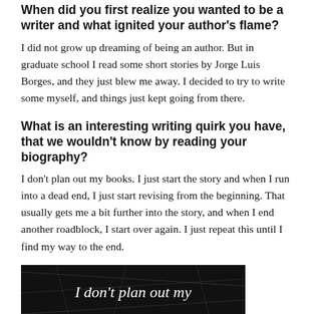When did you first realize you wanted to be a writer and what ignited your author's flame?
I did not grow up dreaming of being an author. But in graduate school I read some short stories by Jorge Luis Borges, and they just blew me away. I decided to try to write some myself, and things just kept going from there.
What is an interesting writing quirk you have, that we wouldn't know by reading your biography?
I don't plan out my books. I just start the story and when I run into a dead end, I just start revising from the beginning. That usually gets me a bit further into the story, and when I end another roadblock, I start over again. I just repeat this until I find my way to the end.
[Figure (photo): Dark background image with italic white text reading 'I don't plan out my']